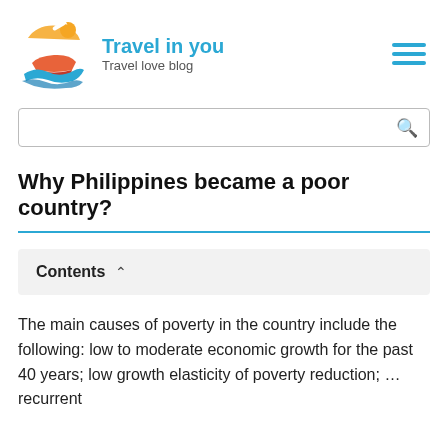Travel in you – Travel love blog
Why Philippines became a poor country?
Contents
The main causes of poverty in the country include the following: low to moderate economic growth for the past 40 years; low growth elasticity of poverty reduction; … recurrent